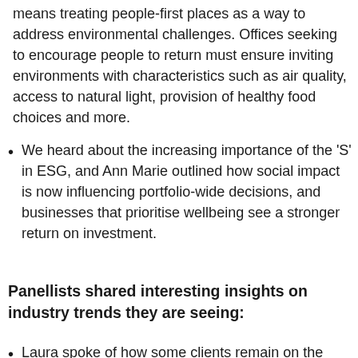means treating people-first places as a way to address environmental challenges. Offices seeking to encourage people to return must ensure inviting environments with characteristics such as air quality, access to natural light, provision of healthy food choices and more.
We heard about the increasing importance of the 'S' in ESG, and Ann Marie outlined how social impact is now influencing portfolio-wide decisions, and businesses that prioritise wellbeing see a stronger return on investment.
Panellists shared interesting insights on industry trends they are seeing:
Laura spoke of how some clients remain on the fence